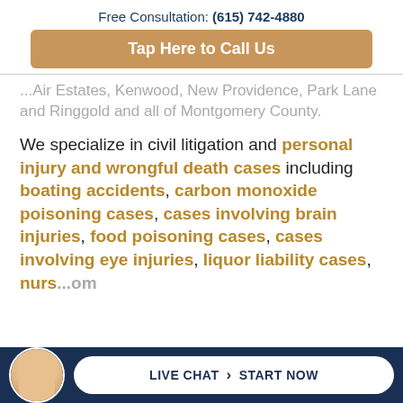Free Consultation: (615) 742-4880
Tap Here to Call Us
...Air Estates, Kenwood, New Providence, Park Lane and Ringgold and all of Montgomery County.
We specialize in civil litigation and personal injury and wrongful death cases including boating accidents, carbon monoxide poisoning cases, cases involving brain injuries, food poisoning cases, cases involving eye injuries, liquor liability cases, nurs...om...
LIVE CHAT › START NOW